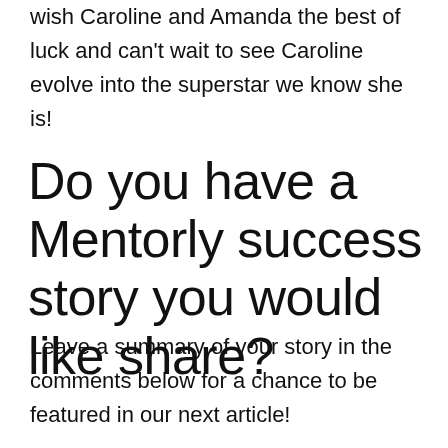wish Caroline and Amanda the best of luck and can't wait to see Caroline evolve into the superstar we know she is!
Do you have a Mentorly success story you would like share?
Leave a summary of your story in the comments below for a chance to be featured in our next article!